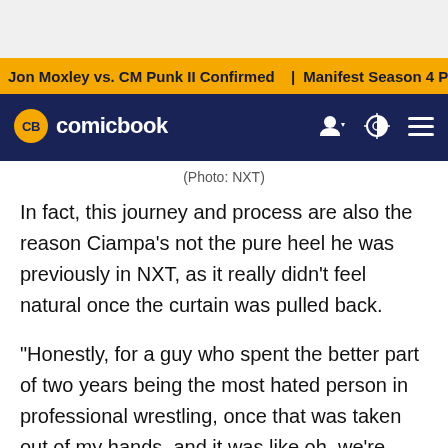Jon Moxley vs. CM Punk II Confirmed | Manifest Season 4 Pr...
CB comicbook
(Photo: NXT)
In fact, this journey and process are also the reason Ciampa's not the pure heel he was previously in NXT, as it really didn't feel natural once the curtain was pulled back.
"Honestly, for a guy who spent the better part of two years being the most hated person in professional wrestling, once that was taken out of my hands, and it was like oh, we're going to tell your story, everybody else just felt... I just kind of went with what felt natural as far as just letting people in on the rehab and stuff," Ciampa said. "It's kind of